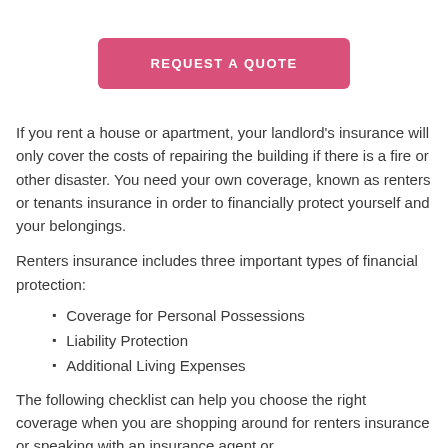[Figure (other): Pink rounded rectangle button with white uppercase text 'REQUEST A QUOTE']
If you rent a house or apartment, your landlord's insurance will only cover the costs of repairing the building if there is a fire or other disaster. You need your own coverage, known as renters or tenants insurance in order to financially protect yourself and your belongings.
Renters insurance includes three important types of financial protection:
Coverage for Personal Possessions
Liability Protection
Additional Living Expenses
The following checklist can help you choose the right coverage when you are shopping around for renters insurance or speaking with an insurance agent or